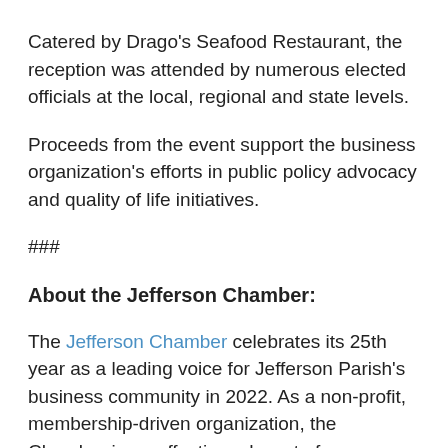Catered by Drago's Seafood Restaurant, the reception was attended by numerous elected officials at the local, regional and state levels.
Proceeds from the event support the business organization's efforts in public policy advocacy and quality of life initiatives.
###
About the Jefferson Chamber:
The Jefferson Chamber celebrates its 25th year as a leading voice for Jefferson Parish's business community in 2022. As a non-profit, membership-driven organization, the Chamber is an effective advocate for...